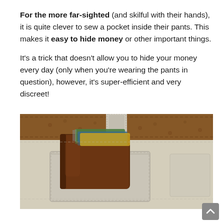For the more far-sighted (and skilful with their hands), it is quite clever to sew a pocket inside their pants. This makes it easy to hide money or other important things.

It's a trick that doesn't allow you to hide your money every day (only when you're wearing the pants in question), however, it's super-efficient and very discreet!
[Figure (photo): Close-up photo of the back of light beige/cream pants with a brown leather belt, showing a brown leather wallet with colorful cards tucked into a back pocket.]